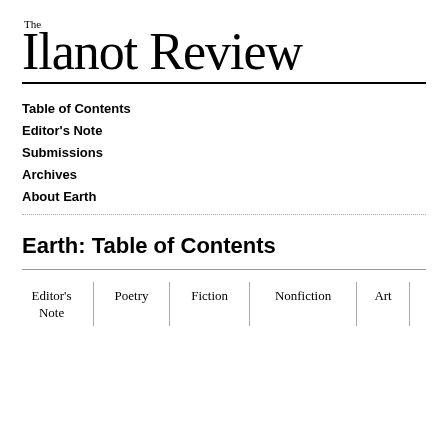The Ilanot Review
Table of Contents
Editor's Note
Submissions
Archives
About Earth
Earth: Table of Contents
| Editor's Note | Poetry | Fiction | Nonfiction | Art |
| --- | --- | --- | --- | --- |